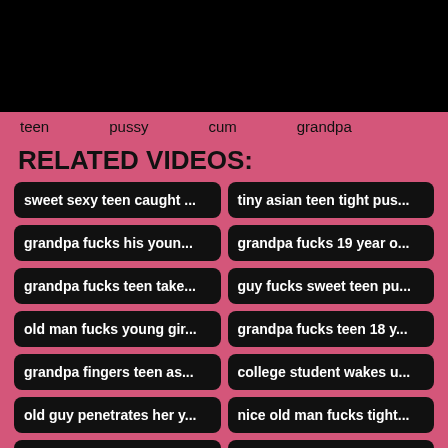[Figure (other): Black rectangle video player area at top of page]
teen   pussy   cum   grandpa
RELATED VIDEOS:
sweet sexy teen caught ...
tiny asian teen tight pus...
grandpa fucks his youn...
grandpa fucks 19 year o...
grandpa fucks teen take...
guy fucks sweet teen pu...
old man fucks young gir...
grandpa fucks teen 18 y...
grandpa fingers teen as...
college student wakes u...
old guy penetrates her y...
nice old man fucks tight...
granny with big tits fing...
plump grandma fucks hi...
grandpa fucks young gi...
cute teen fucked by big ...
hot blonde granny frann...
college girl loves how ol...
old man fucks 2 young t...
grandpa fucks teen in th